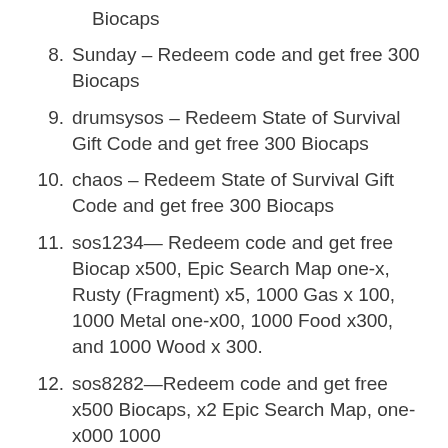Biocaps
8. Sunday – Redeem code and get free 300 Biocaps
9. drumsysos – Redeem State of Survival Gift Code and get free 300 Biocaps
10. chaos – Redeem State of Survival Gift Code and get free 300 Biocaps
11. sos1234— Redeem code and get free Biocap x500, Epic Search Map one-x, Rusty (Fragment) x5, 1000 Gas x 100, 1000 Metal one-x00, 1000 Food x300, and 1000 Wood x 300.
12. sos8282—Redeem code and get free x500 Biocaps, x2 Epic Search Map, one-x000 1000